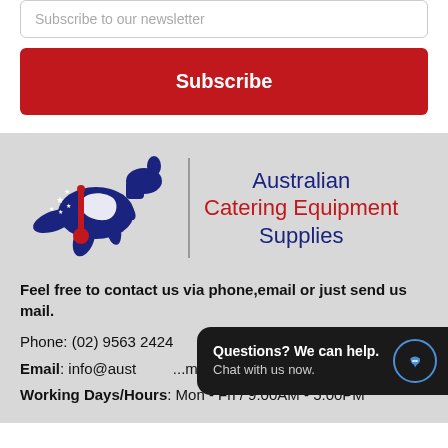Subscribe to our newsletter
Subscribe
[Figure (logo): Australian Catering Equipment Supplies logo: blue kangaroo with red spoon/thermometer and Australia map outline, with company name text]
Feel free to contact us via phone,email or just send us mail.
Phone: (02) 9563 2424
Email: info@aust...m.au
Working Days/Hours: Mon - Fri / 9:00AM - 5:00PM
Questions? We can help. Chat with us now.